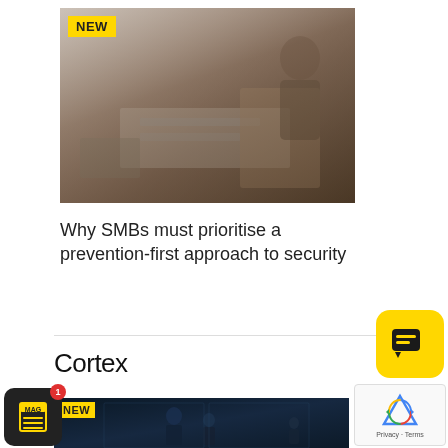[Figure (photo): Thumbnail image of a business desk scene with documents, laptop, and packages — labeled NEW in yellow badge]
Why SMBs must prioritise a prevention-first approach to security
Cortex
[Figure (photo): Thumbnail image of people in a dark corridor/building entrance — labeled NEW in yellow badge]
[Figure (other): Yellow rounded-square chat bubble icon widget in bottom-right area]
[Figure (other): reCAPTCHA widget with spinning arrows logo and Privacy - Terms text]
[Figure (other): MAG magazine icon badge in black rounded square with red notification dot showing 1]